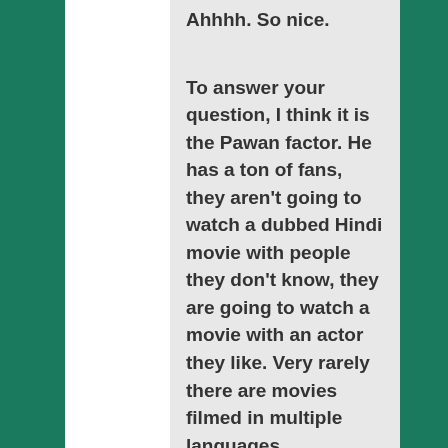Ahhhh. So nice.
To answer your question, I think it is the Pawan factor. He has a ton of fans, they aren't going to watch a dubbed Hindi movie with people they don't know, they are going to watch a movie with an actor they like. Very rarely there are movies filmed in multiple languages simultaneously, and part of that is swapping out casts. The extras and stuff can stay the same, but the main roles get switched to